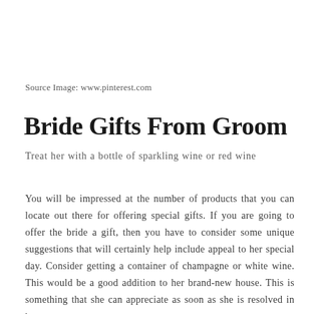Source Image: www.pinterest.com
Bride Gifts From Groom
Treat her with a bottle of sparkling wine or red wine
You will be impressed at the number of products that you can locate out there for offering special gifts. If you are going to offer the bride a gift, then you have to consider some unique suggestions that will certainly help include appeal to her special day. Consider getting a container of champagne or white wine. This would be a good addition to her brand-new house. This is something that she can appreciate as soon as she is resolved in her